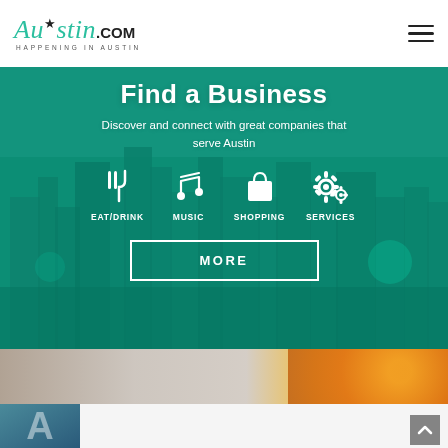[Figure (logo): Austin.com logo — 'Austin' in teal italic script font with star, '.COM' in bold black, tagline 'HAPPENING IN AUSTIN' below]
[Figure (photo): Hero banner with teal/green overlay on Austin city skyline photo. Shows 'Find a Business' heading, subtitle 'Discover and connect with great companies that serve Austin', four category icons (EAT/DRINK, MUSIC, SHOPPING, SERVICES), and a MORE button]
Find a Business
Discover and connect with great companies that serve Austin
EAT/DRINK
MUSIC
SHOPPING
SERVICES
MORE
[Figure (photo): Partial bottom strip showing a blurred food/flower photo on left and orange/yellow flower on right, with a large letter A block and an advertisement area below]